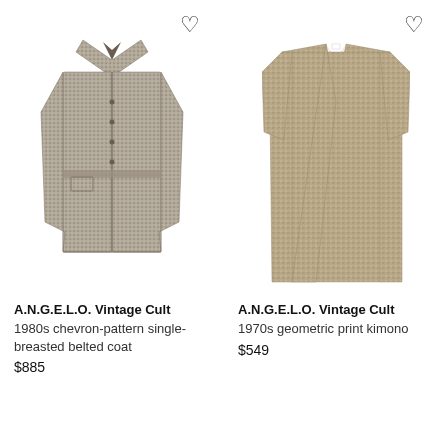[Figure (photo): A.N.G.E.L.O. Vintage Cult 1980s chevron-pattern single-breasted belted coat, grey tweed texture, long coat on white background]
A.N.G.E.L.O. Vintage Cult
1980s chevron-pattern single-breasted belted coat
$885
[Figure (photo): A.N.G.E.L.O. Vintage Cult 1970s geometric print kimono, tan/beige woven pattern, long open front kimono on white background]
A.N.G.E.L.O. Vintage Cult
1970s geometric print kimono
$549